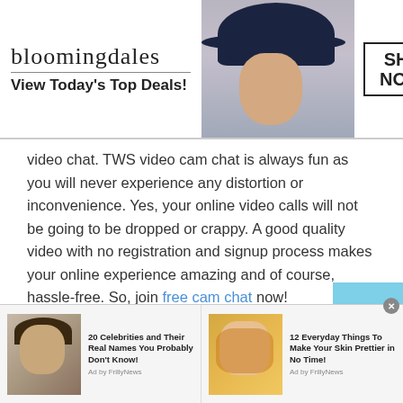[Figure (other): Bloomingdales advertisement banner with logo, model in large hat, and 'SHOP NOW >' button]
video chat. TWS video cam chat is always fun as you will never experience any distortion or inconvenience. Yes, your online video calls will not be going to be dropped or crappy. A good quality video with no registration and signup process makes your online experience amazing and of course, hassle-free. So, join free cam chat now!
Group chat
Do you love chatting with multiple people online?
[Figure (other): Bottom advertisement bar with two ad items: '20 Celebrities and Their Real Names You Probably Don't Know! Ad by FrillyNews' and '12 Everyday Things To Make Your Skin Prettier in No Time! Ad by FrillyNews']